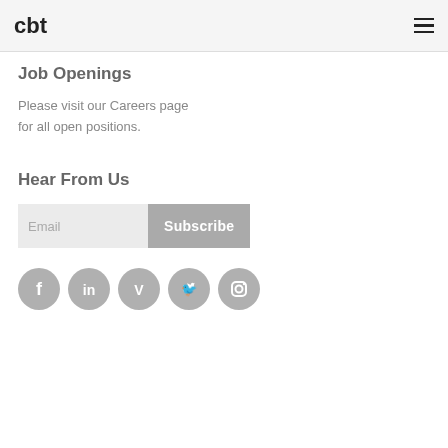cbt
Job Openings
Please visit our Careers page for all open positions.
Hear From Us
Email Subscribe
[Figure (other): Social media icons: Facebook, LinkedIn, Vimeo, Twitter, Instagram]